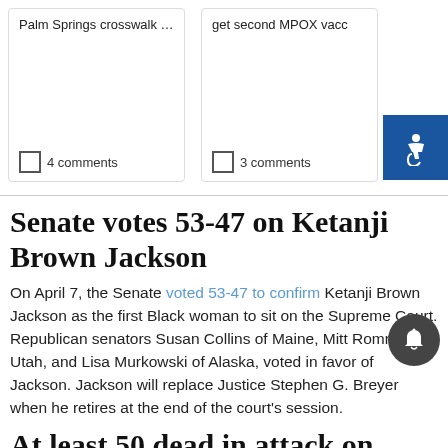Palm Springs crosswalk - ...
4 comments
get second MPOX vacc
3 comments
Senate votes 53-47 on Ketanji Brown Jackson
On April 7, the Senate voted 53-47 to confirm Ketanji Brown Jackson as the first Black woman to sit on the Supreme Court. Republican senators Susan Collins of Maine, Mitt Romney of Utah, and Lisa Murkowski of Alaska, voted in favor of Jackson. Jackson will replace Justice Stephen G. Breyer when he retires at the end of the court's session.
At least 50 dead in attack on Ukraine train station
At least 50 people, including five children, are dead and 100